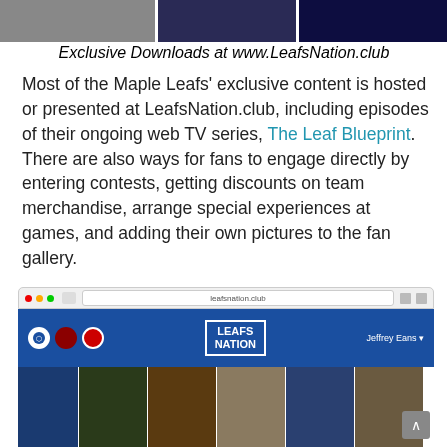[Figure (photo): Three partially visible images at the top of the page: a dark image on the left, a person in blue jersey in the middle, and a dark blue/neon image on the right]
Exclusive Downloads at www.LeafsNation.club
Most of the Maple Leafs' exclusive content is hosted or presented at LeafsNation.club, including episodes of their ongoing web TV series, The Leaf Blueprint. There are also ways for fans to engage directly by entering contests, getting discounts on team merchandise, arrange special experiences at games, and adding their own pictures to the fan gallery.
[Figure (screenshot): Screenshot of the LeafsNation.club website showing the browser chrome, the blue navigation header with Leafs Nation logo and team logos, and a fan photo gallery section below]